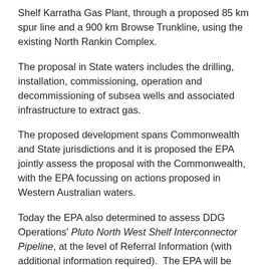Shelf Karratha Gas Plant, through a proposed 85 km spur line and a 900 km Browse Trunkline, using the existing North Rankin Complex.
The proposal in State waters includes the drilling, installation, commissioning, operation and decommissioning of subsea wells and associated infrastructure to extract gas.
The proposed development spans Commonwealth and State jurisdictions and it is proposed the EPA jointly assess the proposal with the Commonwealth, with the EPA focussing on actions proposed in Western Australian waters.
Today the EPA also determined to assess DDG Operations' Pluto North West Shelf Interconnector Pipeline, at the level of Referral Information (with additional information required). The EPA will be requesting further information relating to cultural values that may be impacted by the pipeline, including targeting consultation with key Indigenous stakeholder